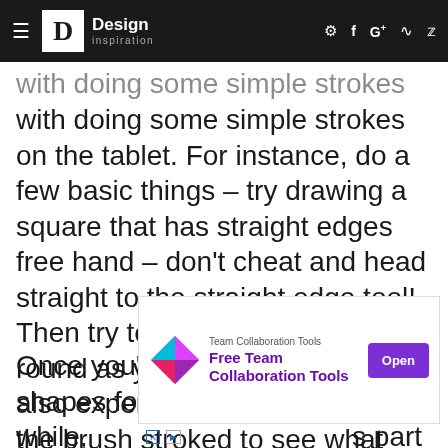Design inspiration
with doing some simple strokes on the tablet. For instance, do a few basic things – try drawing a square that has straight edges free hand – don't cheat and head straight to the straight edge tool! Then try to draw a circle – as round as you can. Here, you can also experiment with the size of the brush stroked to see what you like.
Once you've drawn some basic shapes for a while, [ad obscured] s part is part [ad obscured] d with a bunc [ad obscured] y not
[Figure (other): Advertisement banner for Free Team Collaboration Tools with diamond-shaped logo, purple button labeled Open]